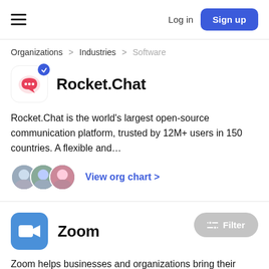Log in  Sign up
Organizations > Industries > Software
Rocket.Chat
Rocket.Chat is the world's largest open-source communication platform, trusted by 12M+ users in 150 countries. A flexible and...
View org chart >
Zoom
Zoom helps businesses and organizations bring their